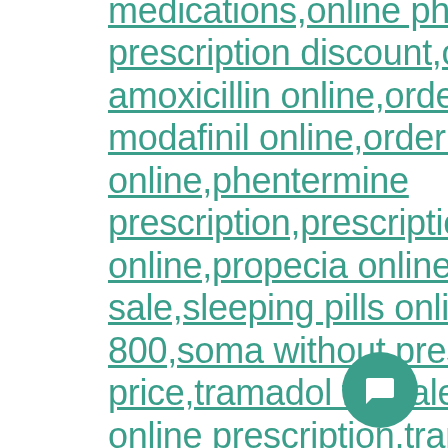medications,online pharmacy oxy,online prescription discount,online ultram,order amoxicillin online,order flagyl,order modafinil online,order vyvanse online,phentermine prescription,prescription for xanax online,propecia online,prosom,sildenafil sale,sleeping pills online,smz tmp ds 800,soma without prescription,tamsulosin price,tramadol for sale online,tramadol online prescription,tramadol online with prescription,tramadol prescription online,valacyclovir no prescription,veetids,viagra online purchase,viagra online sales,where
[Figure (other): Teal circular chat bubble button with a speech/comment icon in white, positioned in the bottom right area of the page.]